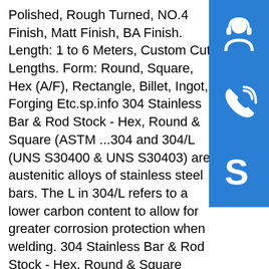Polished, Rough Turned, NO.4 Finish, Matt Finish, BA Finish. Length: 1 to 6 Meters, Custom Cut Lengths. Form: Round, Square, Hex (A/F), Rectangle, Billet, Ingot, Forging Etc.sp.info 304 Stainless Bar & Rod Stock - Hex, Round & Square (ASTM ...304 and 304/L (UNS S30400 & UNS S30403) are austenitic alloys of stainless steel bars. The L in 304/L refers to a lower carbon content to allow for greater corrosion protection when welding. 304 Stainless Bar & Rod Stock - Hex, Round & Square (ASTM A479 & A276) | TW Metalssp.info 304 | STAINLESS | In Stock | Castle Metals SiteStainless Steel 304/304L in bar, plate and tube SPECIFICATIONS: GRADE STAINLESS STEEL 304/304L, AISI 304, UNS S30400, UNS S30403 Castle Metals distributes a wide range of Stainless 304 in bar, plate and tube from our distribution centers in the U.S., Canada, Mexico, Shanghai, Singapore, France, and the U.K. When customers confer with us on stainless 304, sometimes they tell us they are ...
[Figure (illustration): Three blue icon boxes stacked vertically on the right side: a customer support headset icon, a phone/call icon, and a Skype logo icon]